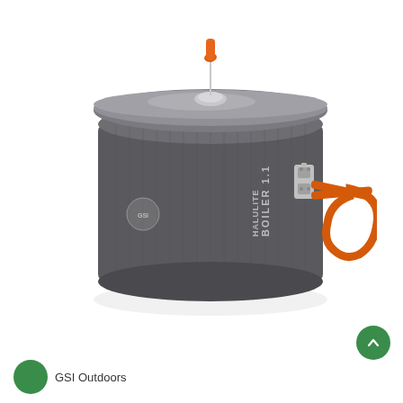[Figure (photo): GSI Outdoors Halulite Boiler 1.1L camping pot with dark gray anodized aluminum body, orange foldable handle, stainless steel handle latch, and lid with orange pull tab. Product shown on white background.]
GSI Outdoors